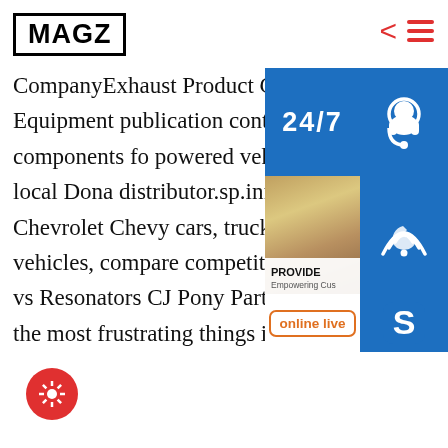MAGZ
CompanyExhaust Product Guide for Medium-Heavy-duty Vehicles and Equipment publication contains a wide selection mufflers and exhaust components fo powered vehicles and equipment. Fo contact Donaldson or your local Dona distributor.sp.info Chevrolet Cars, Tr Crossovers and VansOfficial Chevrolet Chevy cars, trucks, crossovers & SUVs – see photos/videos, find vehicles, compare competitors, build your own Chevy & more.sp.info Mufflers vs Resonators CJ Pony PartsMay 05, 2021 · Exhaust:X vs H vs Y Pipes. One of the most frustrating things in
[Figure (infographic): 24/7 support overlay panel with headset agent photo, phone icon, Skype icon, 'PROVIDE Empowering Customers' banner, and 'online live' button]